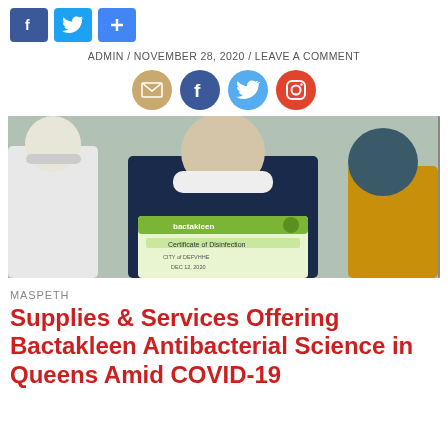[Figure (other): Social share buttons: Facebook (blue), Twitter (blue), and a plus/share button (blue)]
ADMIN / NOVEMBER 28, 2020 / LEAVE A COMMENT
[Figure (other): Four circular social media icons: email (tan), Facebook (dark blue), Twitter (light blue), Instagram (red)]
[Figure (photo): Three people wearing face masks, with the center person holding a bactakleen Certificate of Disinfection certificate]
MASPETH
Supplies & Services Offering Bactakleen Antibacterial Science in Queens Amid COVID-19